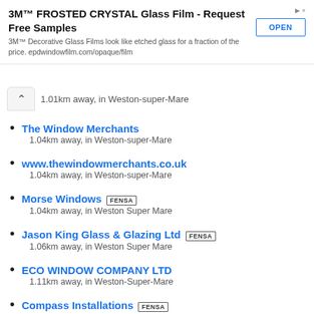[Figure (screenshot): Advertisement banner for 3M Frosted Crystal Glass Film with OPEN button]
1.01km away, in Weston-super-Mare
The Window Merchants
1.04km away, in Weston-super-Mare
www.thewindowmerchants.co.uk
1.04km away, in Weston-super-Mare
Morse Windows [FENSA]
1.04km away, in Weston Super Mare
Jason King Glass & Glazing Ltd [FENSA]
1.06km away, in Weston Super Mare
ECO WINDOW COMPANY LTD
1.11km away, in Weston-Super-Mare
Compass Installations [FENSA]
1.14km away, in Weston Super Mare
James Cole Glass & Glazing
1.47km away, in Weston-super-Mare